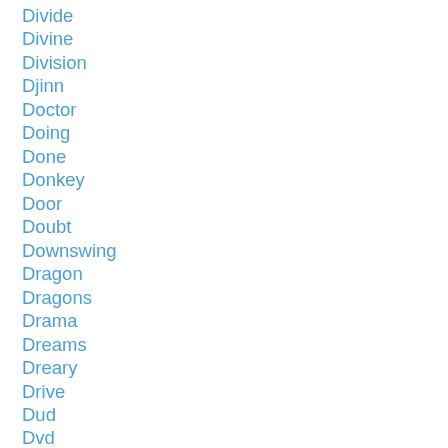Divide
Divine
Division
Djinn
Doctor
Doing
Done
Donkey
Door
Doubt
Downswing
Dragon
Dragons
Drama
Dreams
Dreary
Drive
Dud
Dvd
Early Bird
Earth